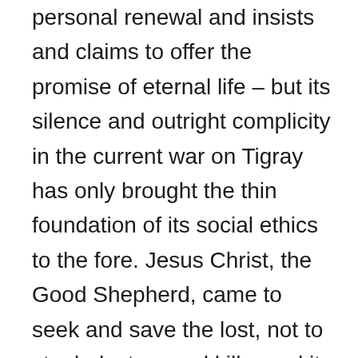personal renewal and insists and claims to offer the promise of eternal life – but its silence and outright complicity in the current war on Tigray has only brought the thin foundation of its social ethics to the fore. Jesus Christ, the Good Shepherd, came to seek and save the lost, not to steal, destroy and kill – and it is imperative for his disciples to follow his footstep and stand in solidarity with all who suffer. In the midst of war, the spiritualization of politics and the politicization of religion should be tamed before it engulfs the whole country